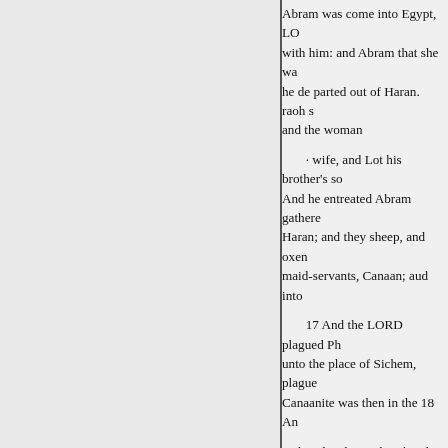Abram was come into Egypt, LO with him: and Abram that she wa he de parted out of Haran. raoh s and the woman
· wife, and Lot his brother's so And he entreated Abram gathere Haran; and they sheep, and oxen maid-servants, Canaan; aud into
17 And the LORD plagued Ph unto the place of Sichem, plague Canaanite was then in the 18 An
and said, What is this that thou 7 said, Into thy seed (thou not tell altar unto the LORD, u 19 Why s
sister? so I might have taken her mountain on the east of hold thy Beth-el on the west, and Hai 20 A concerning him: and they an alta name of the LORD. Tall that he h
CHAP. XIII.